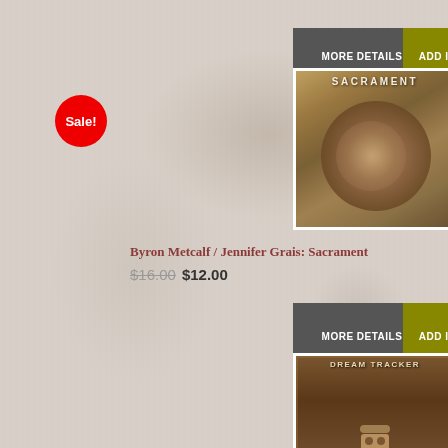[Figure (screenshot): Sale! badge - red circle with white text]
MORE DETAILS
ADD ITEM TO CART
[Figure (photo): Album cover for Sacrament - earthy textured image with SACRAMENT text at top]
Byron Metcalf / Jennifer Grais: Sacrament
$16.00 $12.00
MORE DETAILS
ADD ITEM TO CART
[Figure (photo): Album cover for Dream Tracker - brown relief sculpture with DREAM TRACKER text and two figures]
Byron Metcalf & Dashmesh Khalsa & Steve Roach: Dre...
$16.00
MORE DETAILS
ADD ITEM TO CART